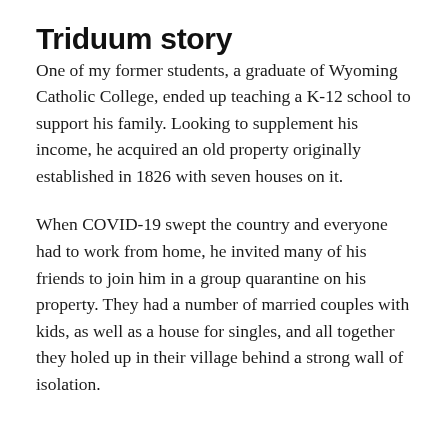Triduum story
One of my former students, a graduate of Wyoming Catholic College, ended up teaching a K-12 school to support his family. Looking to supplement his income, he acquired an old property originally established in 1826 with seven houses on it.
When COVID-19 swept the country and everyone had to work from home, he invited many of his friends to join him in a group quarantine on his property. They had a number of married couples with kids, as well as a house for singles, and all together they holed up in their village behind a strong wall of isolation.